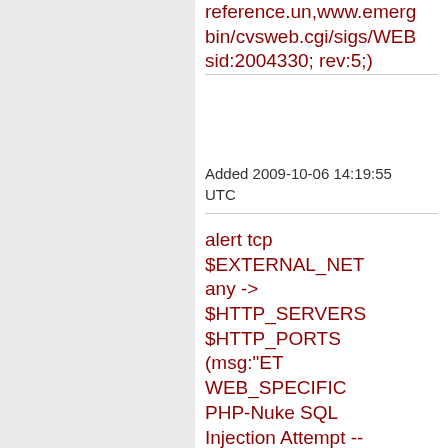reference.un,www.emerg bin/cvsweb.cgi/sigs/WEB sid:2004330; rev:5;)
Added 2009-10-06 14:19:55 UTC
alert tcp $EXTERNAL_NET any -> $HTTP_SERVERS $HTTP_PORTS (msg:"ET WEB_SPECIFIC PHP-Nuke SQL Injection Attempt -- mainfile.php lang UPDATE"; flow:established,to_serve uricontent:"/mainfile.php?